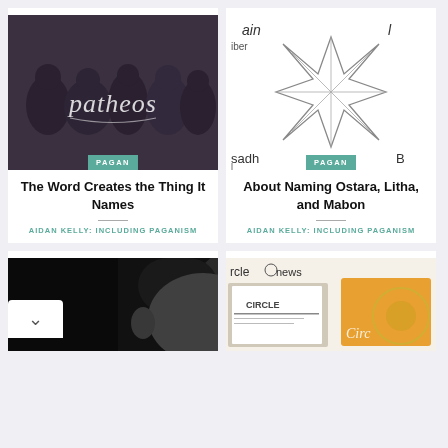[Figure (photo): Dark image showing silhouettes of people with arms around each other and 'patheos' text overlay with a PAGAN category badge]
The Word Creates the Thing It Names
AIDAN KELLY: INCLUDING PAGANISM
[Figure (illustration): White background with an 8-pointed star/asterisk rune outline with partial text 'ain', 'iber', 'sadh', 'B' and a PAGAN category badge]
About Naming Ostara, Litha, and Mabon
AIDAN KELLY: INCLUDING PAGANISM
[Figure (photo): Black and white close-up photo of a person's face, partially visible, with text 'r's' in top left]
[Figure (photo): Photo showing Circle News publication and Circle magazine covers including an orange cover with circle emblem]